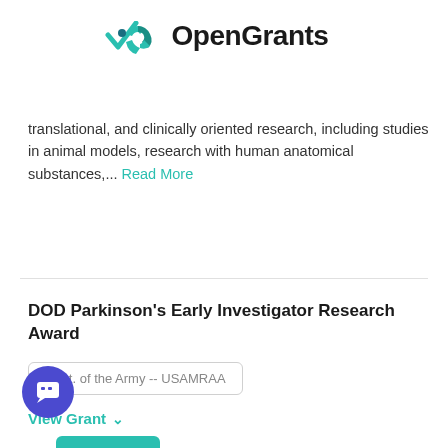[Figure (logo): OpenGrants logo with teal checkmark icon and bold text]
translational, and clinically oriented research, including studies in animal models, research with human anatomical substances,... Read More
Learn More
DOD Parkinson's Early Investigator Research Award
Dept. of the Army -- USAMRAA
View Grant